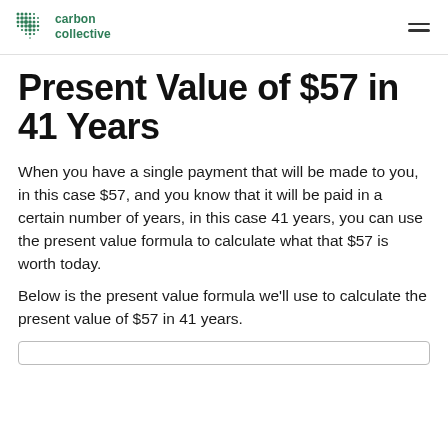carbon collective
Present Value of $57 in 41 Years
When you have a single payment that will be made to you, in this case $57, and you know that it will be paid in a certain number of years, in this case 41 years, you can use the present value formula to calculate what that $57 is worth today.
Below is the present value formula we'll use to calculate the present value of $57 in 41 years.
[Figure (other): Formula box at the bottom of the page (partially visible)]